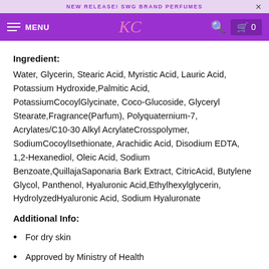NEW RELEASE! SWG BRAND PERFUMES
Ingredient:
Water, Glycerin, Stearic Acid, Myristic Acid, Lauric Acid, Potassium Hydroxide, Palmitic Acid, PotassiumCocoylGlycinate, Coco-Glucoside, Glyceryl Stearate, Fragrance(Parfum), Polyquaternium-7, Acrylates/C10-30 Alkyl AcrylateCrosspolymer, SodiumCocoylIsethionate, Arachidic Acid, Disodium EDTA, 1,2-Hexanediol, Oleic Acid, Sodium Benzoate, QuillajaSaponaria Bark Extract, CitricAcid, Butylene Glycol, Panthenol, Hyaluronic Acid, Ethylhexylglycerin, HydrolyzedHyaluronic Acid, Sodium Hyaluronate
Additional Info:
For dry skin
Approved by Ministry of Health
Size: 150ml / 5.07 fl.oz